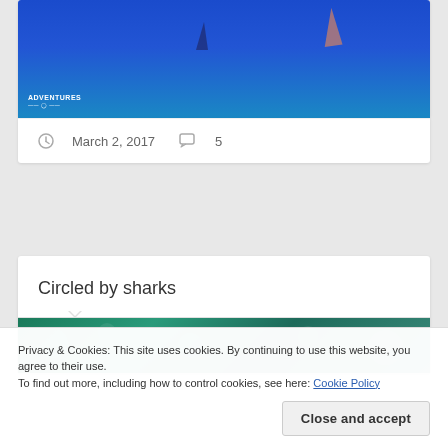[Figure (photo): Underwater blue ocean photo with shark fins visible at surface, 'Adventures' logo watermark in bottom left corner]
March 2, 2017    5
Circled by sharks
[Figure (photo): Underwater teal/green ocean scene, partially visible]
Privacy & Cookies: This site uses cookies. By continuing to use this website, you agree to their use.
To find out more, including how to control cookies, see here: Cookie Policy
Close and accept